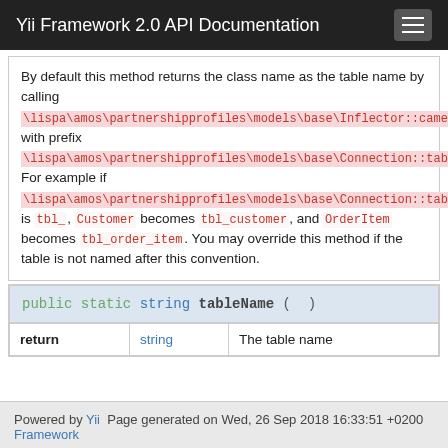Yii Framework 2.0 API Documentation
By default this method returns the class name as the table name by calling \lispa\amos\partnershipprofiles\models\base\Inflector::camel2id() with prefix \lispa\amos\partnershipprofiles\models\base\Connection::tablePrefix. For example if \lispa\amos\partnershipprofiles\models\base\Connection::tablePrefix is tbl_, Customer becomes tbl_customer, and OrderItem becomes tbl_order_item. You may override this method if the table is not named after this convention.
| public static string tableName ( ) | return | string | The table name |
| --- | --- | --- | --- |
| return | string | The table name |
Powered by Yii  Page generated on Wed, 26 Sep 2018 16:33:51 +0200
Framework